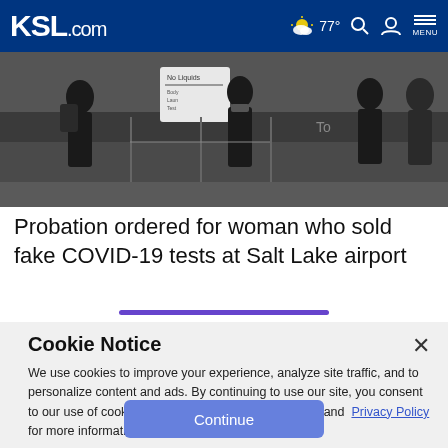KSL.com — 77° MENU
[Figure (photo): Airport security checkpoint scene with travelers in masks and a sign reading No Liquids]
Probation ordered for woman who sold fake COVID-19 tests at Salt Lake airport
Cookie Notice
We use cookies to improve your experience, analyze site traffic, and to personalize content and ads. By continuing to use our site, you consent to our use of cookies. Please visit our Terms of Use and Privacy Policy for more information.
Continue